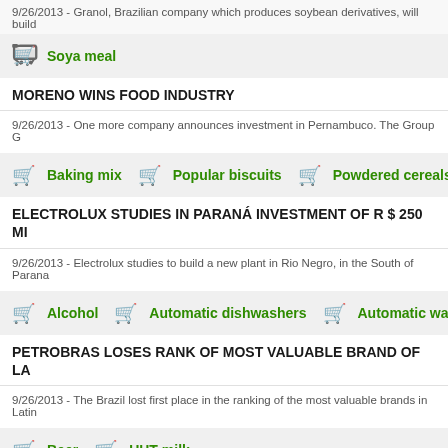9/26/2013 - Granol, Brazilian company which produces soybean derivatives, will build
Soya meal
MORENO WINS FOOD INDUSTRY
9/26/2013 - One more company announces investment in Pernambuco. The Group G
Baking mix   Popular biscuits   Powdered cereals
ELECTROLUX STUDIES IN PARANÁ INVESTMENT OF R $ 250 MI
9/26/2013 - Electrolux studies to build a new plant in Rio Negro, in the South of Parana
Alcohol   Automatic dishwashers   Automatic washers
PETROBRAS LOSES RANK OF MOST VALUABLE BRAND OF LA
9/26/2013 - The Brazil lost first place in the ranking of the most valuable brands in Latin
Beer   UHT milk
BLUHARPY INVESTS IN NETWORK OF PRODUCTS FOR BABY